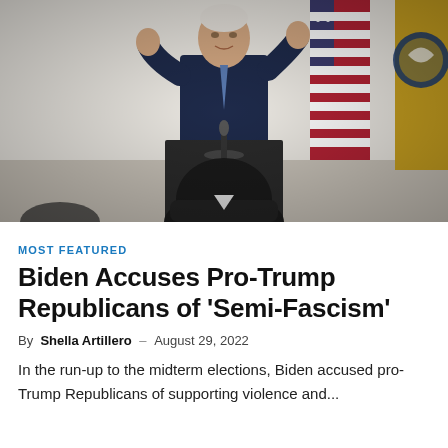[Figure (photo): President Biden speaking at a podium with raised hands, with American flags in the background and attendees in the foreground]
MOST FEATURED
Biden Accuses Pro-Trump Republicans of 'Semi-Fascism'
By Shella Artillero – August 29, 2022
In the run-up to the midterm elections, Biden accused pro-Trump Republicans of supporting violence and...